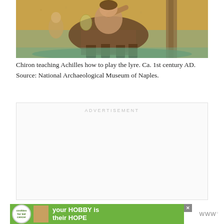[Figure (photo): Ancient Roman mosaic fresco showing Chiron teaching Achilles how to play the lyre, approximately 1st century AD. The image shows a centaur (Chiron) with a human upper body and horse lower body, in warm earth tones with gold and teal accents.]
Chiron teaching Achilles how to play the lyre. Ca. 1st century AD. Source: National Archaeological Museum of Naples.
[Figure (other): Advertisement placeholder box with 'ADVERTISEMENT' label text in light gray, empty content area.]
[Figure (other): Bottom banner advertisement: green background with Cookies for Kid Cancer logo (white circle), text reading 'your HOBBY is their HOPE' in white bold text. Close button (X) in gray. Wunderman Thompson logo (WWW with degree symbol) in gray at right.]